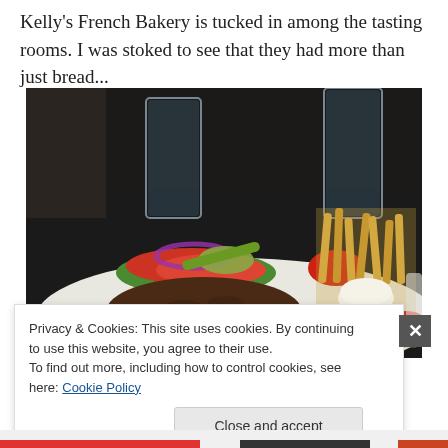Kelly's French Bakery is tucked in among the tasting rooms.  I was stoked to see that they had more than just bread...
[Figure (photo): A plate with a large burger patty, fresh vegetables (tomato, red onion, cucumber, lettuce, pickle), french fries, and condiments (ketchup, mayo dip). Two glasses of water visible in background. Dark restaurant setting.]
Privacy & Cookies: This site uses cookies. By continuing to use this website, you agree to their use.
To find out more, including how to control cookies, see here: Cookie Policy
Close and accept